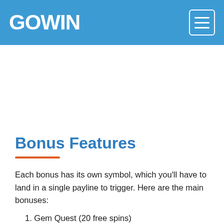GOWIN
Bonus Features
Each bonus has its own symbol, which you'll have to land in a single payline to trigger. Here are the main bonuses:
1. Gem Quest (20 free spins)